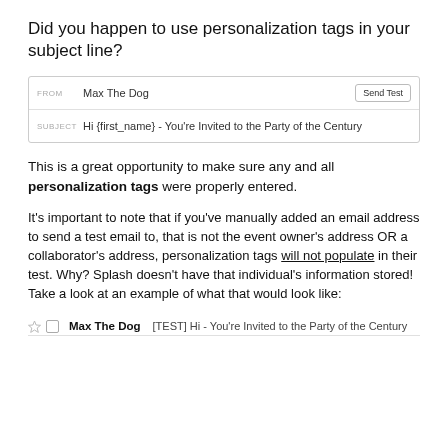Did you happen to use personalization tags in your subject line?
[Figure (screenshot): Email compose UI showing FROM field with 'Max The Dog' and a 'Send Test' button, and SUBJECT field with 'Hi {first_name} - You're Invited to the Party of the Century']
This is a great opportunity to make sure any and all personalization tags were properly entered.
It's important to note that if you've manually added an email address to send a test email to, that is not the event owner's address OR a collaborator's address, personalization tags will not populate in their test. Why? Splash doesn't have that individual's information stored! Take a look at an example of what that would look like:
[Figure (screenshot): Gmail inbox row showing sender 'Max The Dog' and subject '[TEST] Hi - You're Invited to the Party of the Century']